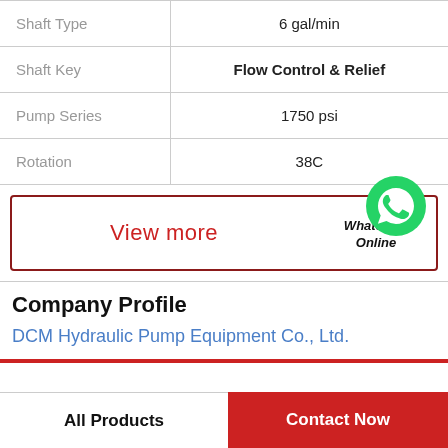| Property | Value |
| --- | --- |
| Shaft Type | 6 gal/min |
| Shaft Key | Flow Control & Relief |
| Pump Series | 1750 psi |
| Rotation | 38C |
View more
WhatsApp Online
Company Profile
DCM Hydraulic Pump Equipment Co., Ltd.
All Products
Contact Now